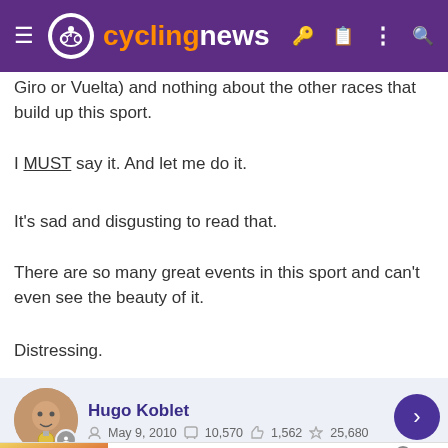[Figure (screenshot): Cyclingnews website header with purple background, logo (orange 'cycling' + white 'news'), hamburger menu, and icons]
Giro or Vuelta) and nothing about the other races that build up this sport.
I MUST say it. And let me do it.
It's sad and disgusting to read that.
There are so many great events in this sport and can't even see the beauty of it.
Distressing.
Hugo Koblet  May 9, 2010  10,570  1,562  25,680
[Figure (infographic): Advertisement: Trending Flowers & Gifts For All Occasions – Shop The Collection, www.1800flowers.com]